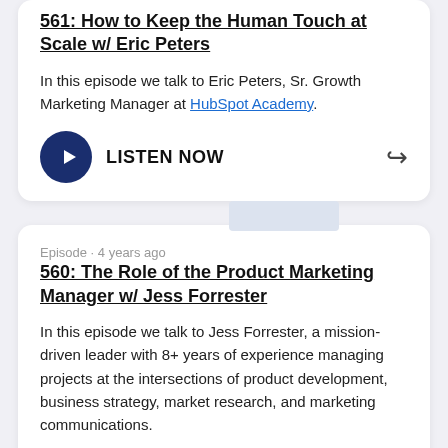561: How to Keep the Human Touch at Scale w/ Eric Peters
In this episode we talk to Eric Peters, Sr. Growth Marketing Manager at HubSpot Academy.
LISTEN NOW
Episode · 4 years ago
560: The Role of the Product Marketing Manager w/ Jess Forrester
In this episode we talk to Jess Forrester, a mission-driven leader with 8+ years of experience managing projects at the intersections of product development, business strategy, market research, and marketing communications.
LISTEN NOW